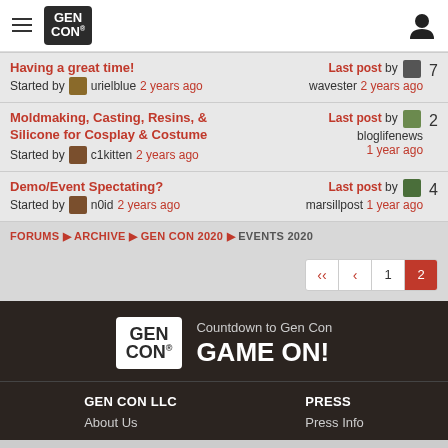GEN CON
Having a great time! Started by urielblue 2 years ago | Last post by [n1k] wavester 2 years ago | 7
Moldmaking, Casting, Resins, & Silicone for Cosplay & Costume Started by c1kitten 2 years ago | Last post by bloglifenews 1 year ago | 2
Demo/Event Spectating? Started by n0id 2 years ago | Last post by marsillpost 1 year ago | 4
FORUMS ▶ ARCHIVE ▶ GEN CON 2020 ▶ EVENTS 2020
Pagination: K < 1 2
[Figure (logo): Gen Con logo with tagline: Countdown to Gen Con GAME ON!]
GEN CON LLC
About Us

PRESS
Press Info